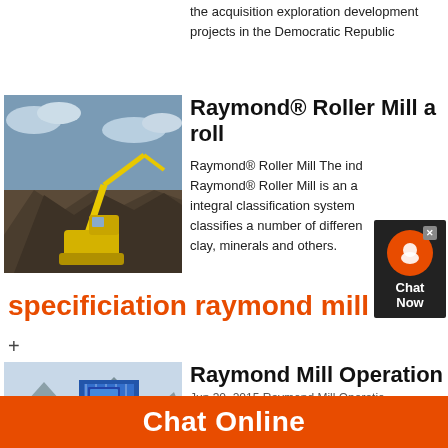the acquisition exploration development projects in the Democratic Republic
Raymond® Roller Mill a roll
[Figure (photo): Excavator working on a rocky mining site with rubble and cloudy sky in background]
Raymond® Roller Mill The ind Raymond® Roller Mill is an a integral classification system classifies a number of differen clay, minerals and others.
specificiation raymond mill
+
[Figure (photo): Industrial mill or processing facility with blue structure and mountains in background]
Raymond Mill Operation
Jun 30, 2015 Raymond Mill Operatio
Chat Online